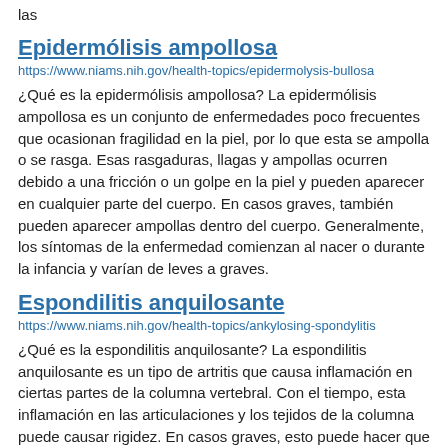las
Epidermólisis ampollosa
https://www.niams.nih.gov/health-topics/epidermolysis-bullosa
¿Qué es la epidermólisis ampollosa? La epidermólisis ampollosa es un conjunto de enfermedades poco frecuentes que ocasionan fragilidad en la piel, por lo que esta se ampolla o se rasga. Esas rasgaduras, llagas y ampollas ocurren debido a una fricción o un golpe en la piel y pueden aparecer en cualquier parte del cuerpo. En casos graves, también pueden aparecer ampollas dentro del cuerpo. Generalmente, los síntomas de la enfermedad comienzan al nacer o durante la infancia y varían de leves a graves.
Espondilitis anquilosante
https://www.niams.nih.gov/health-topics/ankylosing-spondylitis
¿Qué es la espondilitis anquilosante? La espondilitis anquilosante es un tipo de artritis que causa inflamación en ciertas partes de la columna vertebral. Con el tiempo, esta inflamación en las articulaciones y los tejidos de la columna puede causar rigidez. En casos graves, esto puede hacer que los huesos de la columna crezcan juntos, lo que puede ocasionar una columna rígida que es difícil de doblar. Muchas personas con espondilitis anquilosante tienen episodios leves de rigidez y dolores de espalda